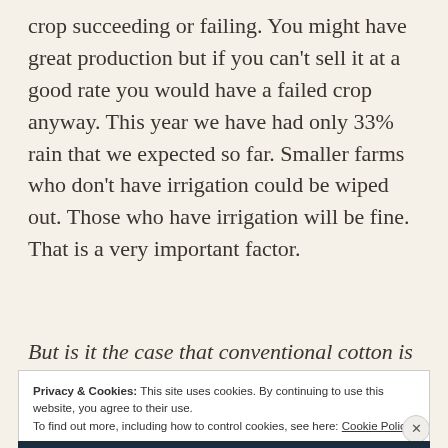crop succeeding or failing. You might have great production but if you can't sell it at a good rate you would have a failed crop anyway. This year we have had only 33% rain that we expected so far. Smaller farms who don't have irrigation could be wiped out. Those who have irrigation will be fine. That is a very important factor.
But is it the case that conventional cotton is
Privacy & Cookies: This site uses cookies. By continuing to use this website, you agree to their use.
To find out more, including how to control cookies, see here: Cookie Policy
Close and accept